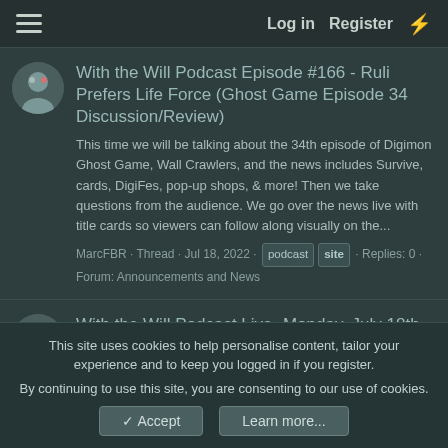Log in  Register
With the Will Podcast Episode #166 - Ruli Prefers Life Force (Ghost Game Episode 34 Discussion/Review)
This time we will be talking about the 34th episode of Digimon Ghost Game, Wall Crawlers, and the news includes Survive, cards, DigiFes, pop-up shops, & more! Then we take questions from the audience. We go over the news live with title cards so viewers can follow along visually on the...
MarcFBR · Thread · Jul 18, 2022 · podcast  site · Replies: 0 · Forum: Announcements and News
With the Will Podcast Live- Monday, July 18th
https://images.withthewill.net/ep166_720p.jpg Monday (July 18th) will be our next live Digimon podcast at 7pm (Pacific time.) This
This site uses cookies to help personalise content, tailor your experience and to keep you logged in if you register.
By continuing to use this site, you are consenting to our use of cookies.